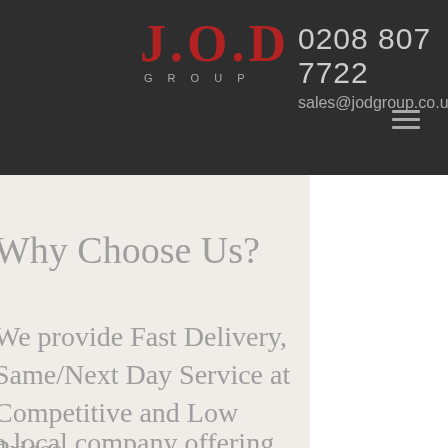J.O.D GROUP | 0208 807 7722 | sales@jodgroup.co.uk
Why Choose Us?
We provide Fast Delivery, Same/Next Day Service at Competitive and Low Prices.
a local company offering